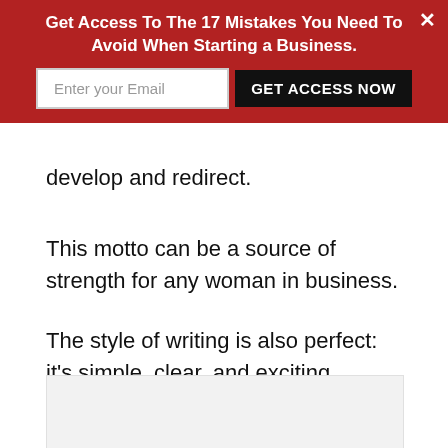Get Access To The 17 Mistakes You Need To Avoid When Starting a Business. [Enter your Email] [GET ACCESS NOW] [x]
develop and redirect.
This motto can be a source of strength for any woman in business.
The style of writing is also perfect: it’s simple, clear, and exciting.
[Figure (other): Light grey rectangular image placeholder box]